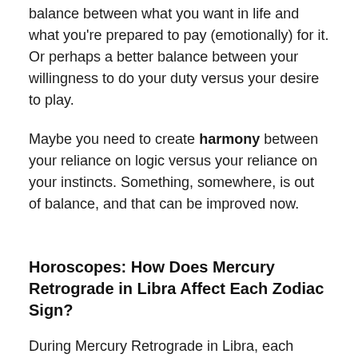balance between what you want in life and what you're prepared to pay (emotionally) for it. Or perhaps a better balance between your willingness to do your duty versus your desire to play.
Maybe you need to create harmony between your reliance on logic versus your reliance on your instincts. Something, somewhere, is out of balance, and that can be improved now.
Horoscopes: How Does Mercury Retrograde in Libra Affect Each Zodiac Sign?
During Mercury Retrograde in Libra, each zodiac sign in astrology will find themselves seeking internal balance in some way and learning the lessons from the past.